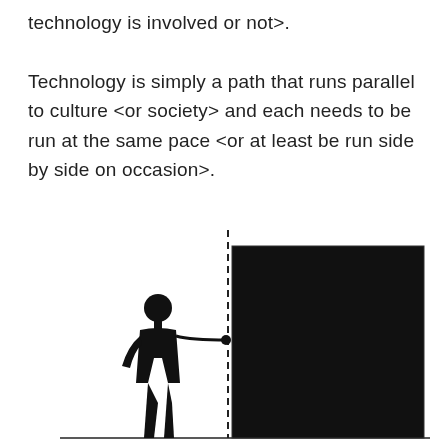technology is involved or not>.

Technology is simply a path that runs parallel to culture <or society> and each needs to be run at the same pace <or at least be run side by side on occasion>.
[Figure (illustration): A black silhouette of a person standing facing a large black rectangle, separated by a vertical dashed line. A horizontal line extends from the person's midsection toward the black rectangle, with a dot at the junction near the dashed line. The illustration depicts a person (representing society/culture) facing a wall of technology.]